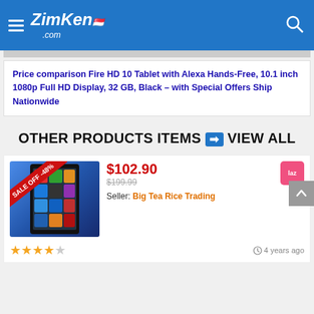ZimKen.com
Price comparison Fire HD 10 Tablet with Alexa Hands-Free, 10.1 inch 1080p Full HD Display, 32 GB, Black – with Special Offers Ship Nationwide
OTHER PRODUCTS ITEMS ➡ VIEW ALL
[Figure (photo): Fire HD tablet product image with SALE OFF -48% badge]
$102.90
$199.99
Seller: Big Tea Rice Trading
★★★★  4 years ago